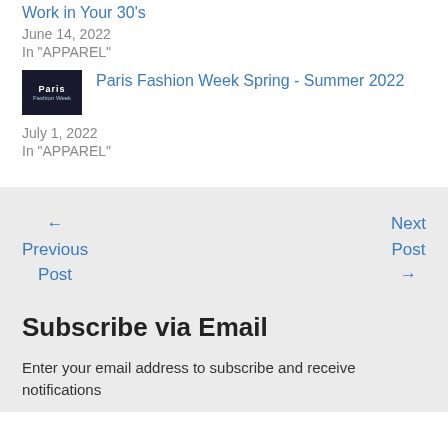Work in Your 30's
June 14, 2022
In "APPAREL"
[Figure (photo): Thumbnail image for Paris Fashion Week Spring - Summer 2022 article, dark background with Paris text]
Paris Fashion Week Spring - Summer 2022
July 1, 2022
In "APPAREL"
← Previous Post
Next Post →
Subscribe via Email
Enter your email address to subscribe and receive notifications